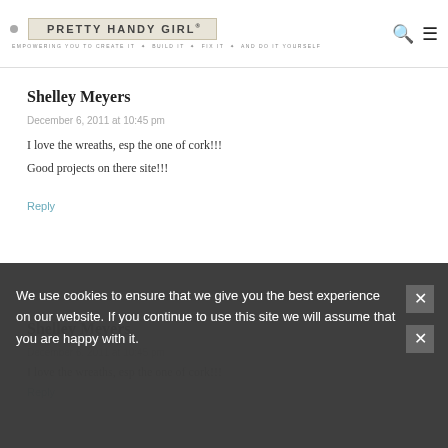Pretty Handy Girl — EMPOWERING YOU TO CREATE IT + BUILD IT + FIX IT + AND DO IT YOURSELF
Shelley Meyers
December 6, 2011 at 10:45 pm
I love the wreaths, esp the one of cork!!!
Good projects on there site!!!
Reply
We use cookies to ensure that we give you the best experience on our website. If you continue to use this site we will assume that you are happy with it.